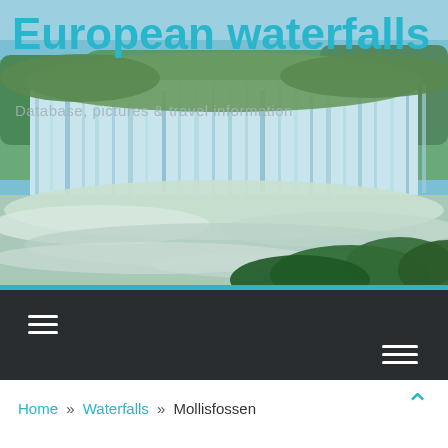[Figure (photo): Photograph of European waterfalls cascading over wide terraced rock formations with lush green vegetation and churning white water below]
European waterfalls
Database, pictures & travel information
Navigation bar with hamburger menu icons
Home » Waterfalls » Mollisfossen